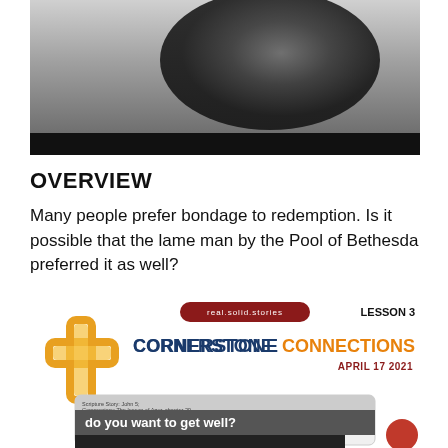[Figure (photo): Blurred black and white photo of a figure, cropped at top, with dark bottom bar]
OVERVIEW
Many people prefer bondage to redemption. Is it possible that the lame man by the Pool of Bethesda preferred it as well?
[Figure (illustration): Cornerstone Connections lesson cover image with cross logo, 'real.solid.stories' badge, 'LESSON 3' label, title 'CORNERSTONE CONNECTIONS APRIL 17 2021', and bottom card reading 'do you want to get well?']